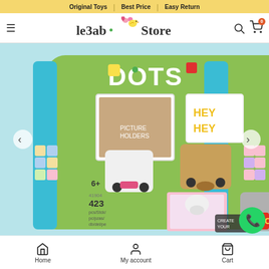Original Toys | Best Price | Easy Return
[Figure (logo): le3ab Store logo with bird and hearts]
[Figure (photo): LEGO DOTS picture holders product box showing animal-themed photo holder builds with 423 pieces, age 6+]
Home | My account | Cart